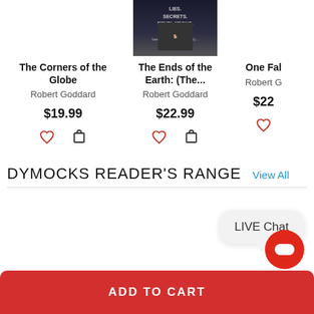[Figure (screenshot): Book cover for 'The Ends of the Earth' with dark background and text: LIES, SECRETS, REVELATIONS. The truth has never been in such short supply.]
The Corners of the Globe
Robert Goddard
$19.99
The Ends of the Earth: (The...
Robert Goddard
$22.99
One Fal
Robert G
$22
DYMOCKS READER'S RANGE
View All
LIVE Chat
ADD TO CART